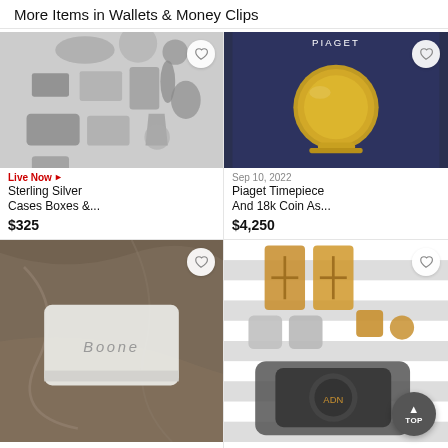More Items in Wallets & Money Clips
[Figure (photo): Collection of sterling silver cases, boxes, and miscellaneous antique silver items laid out on a light background]
Live Now ▶
Sterling Silver Cases Boxes &...
$325
[Figure (photo): Piaget gold coin money clip/timepiece in a dark blue Piaget branded box]
Sep 10, 2022
Piaget Timepiece And 18k Coin As...
$4,250
[Figure (photo): Silver money clip engraved with 'BOONE' on a marble surface]
[Figure (photo): Collection of accessories including cufflinks, amber pieces, and a watch on a striped background]